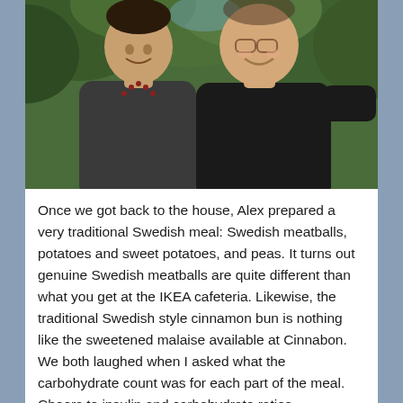[Figure (photo): Two men smiling and posing together outdoors. The man on the left is younger, wearing a dark v-neck shirt with a beaded necklace. The man on the right is older, wearing glasses and a black t-shirt. Green trees/foliage visible in background.]
Once we got back to the house, Alex prepared a very traditional Swedish meal: Swedish meatballs, potatoes and sweet potatoes, and peas. It turns out genuine Swedish meatballs are quite different than what you get at the IKEA cafeteria. Likewise, the traditional Swedish style cinnamon bun is nothing like the sweetened malaise available at Cinnabon. We both laughed when I asked what the carbohydrate count was for each part of the meal. Cheers to insulin and carbohydrate ratios.